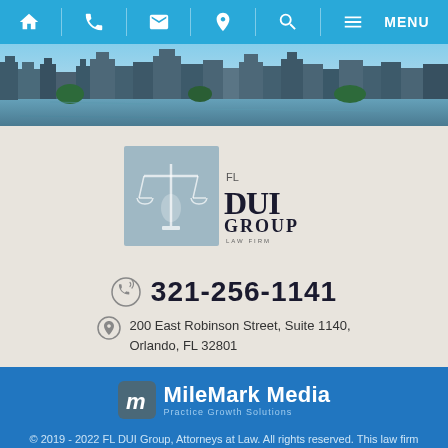[Figure (screenshot): Navigation bar with icons: home, phone, email, location, search, menu hamburger, and MENU text on cyan/blue background]
[Figure (photo): City skyline photo showing Orlando buildings reflected in water]
[Figure (logo): FL DUI Group Law Firm logo with scales of justice icon]
321-256-1141
200 East Robinson Street, Suite 1140, Orlando, FL 32801
[Figure (logo): MileMark Media - Practice Growth Solutions logo]
© 2019 - 2022 FL DUI Group, Attorneys at Law. All rights reserved. This law firm website and legal marketing are managed by MileMark Media.
SITE MAP | DISCLAIMER